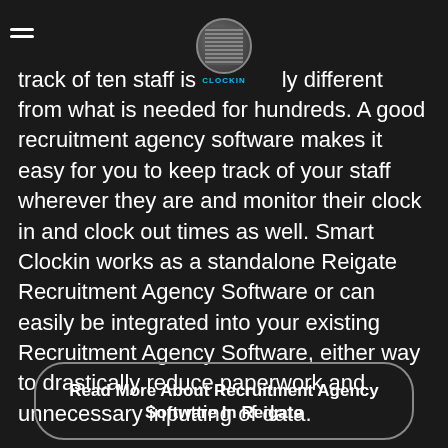because the energy and effort required to keep track of ten staff is vastly different from what is needed for hundreds. A good recruitment agency software makes it easy for you to keep track of your staff wherever they are and monitor their clock in and clock out times as well. Smart Clockin works as a standalone Reigate Recruitment Agency Software or can easily be integrated into your existing Recruitment Agency Software, either way to drastically reduce paperwork and unnecessary inputting of data.
[Figure (logo): Smart Clockin logo — circular icon with QR-code-like pattern and CLOCKIN text below]
Read More About Recruitment Agency Software In Reigate